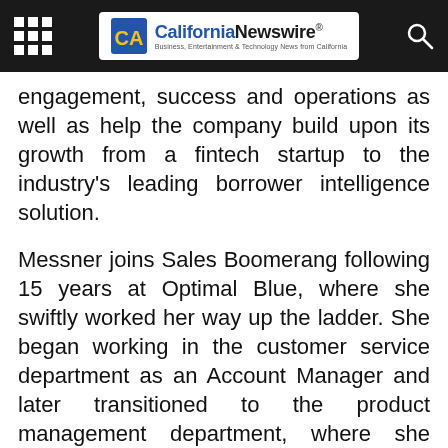California Newswire® — Business, Entertainment & Technology News from California
engagement, success and operations as well as help the company build upon its growth from a fintech startup to the industry's leading borrower intelligence solution.
Messner joins Sales Boomerang following 15 years at Optimal Blue, where she swiftly worked her way up the ladder. She began working in the customer service department as an Account Manager and later transitioned to the product management department, where she advanced to a director role in under five years. Prior to her tenure at Optimal Blue, Messner worked for three years in sales at GE-owned WMC Mortgage.